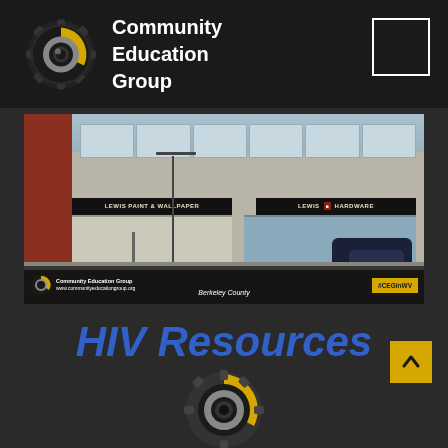[Figure (logo): Community Education Group gear logo with yellow and grey tones on dark background, with white text 'Community Education Group']
Community Education Group
[Figure (photo): Street-level photo of Lewis Paint & Wallpaper and Lewis Hardware storefronts in Berkeley County, WV. Overlay shows Community Education Group logo, website, Berkeley County label, and #CEGInWV hashtag.]
Berkeley County
HIV Resources